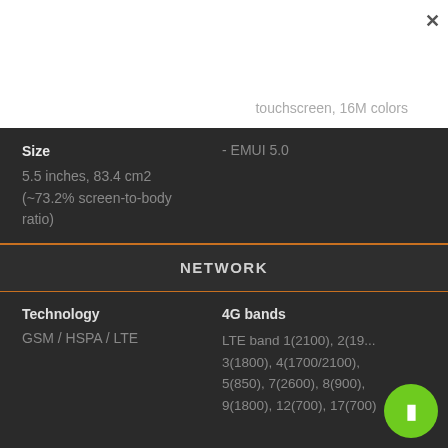touchscreen, 16M colors
Size
- EMUI 5.0
5.5 inches, 83.4 cm2 (~73.2% screen-to-body ratio)
NETWORK
Technology
4G bands
GSM / HSPA / LTE
LTE band 1(2100), 2(19... 3(1800), 4(1700/2100), 5(850), 7(2600), 8(900), 9(1800), 12(700), 17(700)